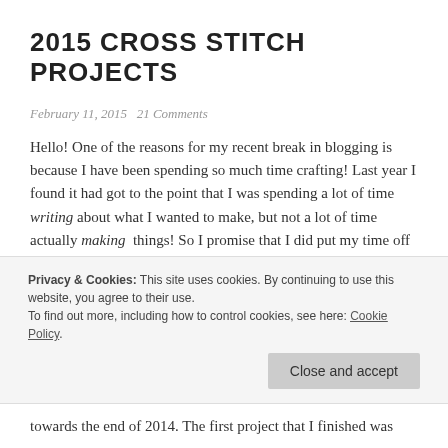2015 CROSS STITCH PROJECTS
February 11, 2015   21 Comments
Hello! One of the reasons for my recent break in blogging is because I have been spending so much time crafting! Last year I found it had got to the point that I was spending a lot of time writing about what I wanted to make, but not a lot of time actually making things! So I promise that I did put my time off to good use! I have a tonne of projects that I want to share with you! But for now I will just focus on my
Privacy & Cookies: This site uses cookies. By continuing to use this website, you agree to their use.
To find out more, including how to control cookies, see here: Cookie Policy
towards the end of 2014. The first project that I finished was